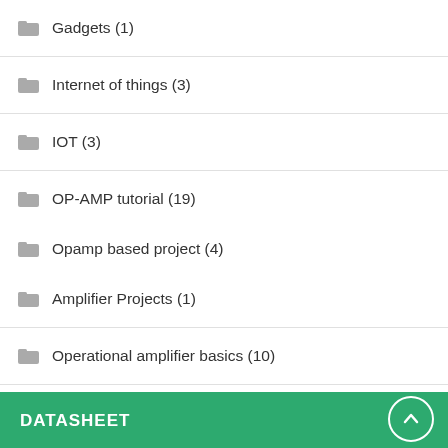Gadgets (1)
Internet of things (3)
IOT (3)
OP-AMP tutorial (19)
Opamp based project (4)
Amplifier Projects (1)
Operational amplifier basics (10)
Tech one (1)
DATASHEET